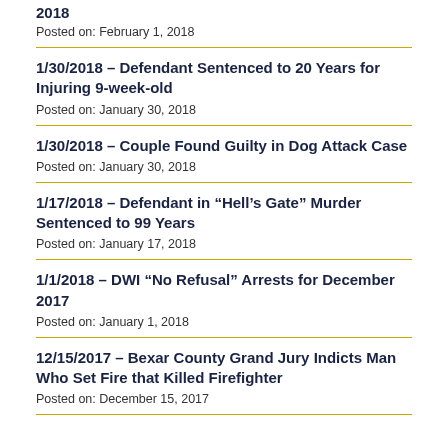2018 — Posted on: February 1, 2018
1/30/2018 - Defendant Sentenced to 20 Years for Injuring 9-week-old — Posted on: January 30, 2018
1/30/2018 - Couple Found Guilty in Dog Attack Case — Posted on: January 30, 2018
1/17/2018 - Defendant in “Hell’s Gate” Murder Sentenced to 99 Years — Posted on: January 17, 2018
1/1/2018 - DWI “No Refusal” Arrests for December 2017 — Posted on: January 1, 2018
12/15/2017 - Bexar County Grand Jury Indicts Man Who Set Fire that Killed Firefighter — Posted on: December 15, 2017